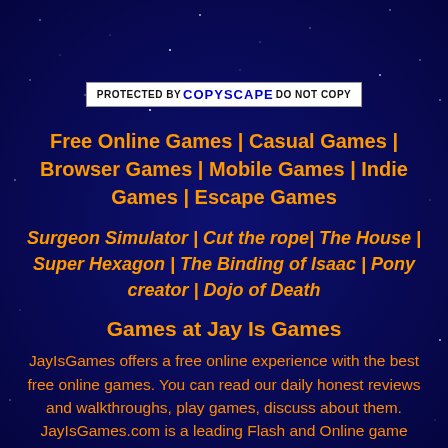[Figure (logo): PROTECTED BY COPYSCAPE DO NOT COPY badge - white background with black and blue text]
Free Online Games | Casual Games | Browser Games | Mobile Games | Indie Games | Escape Games
Surgeon Simulator | Cut the rope| The House | Super Hexagon | The Binding of Isaac | Pony creator | Dojo of Death
Games at Jay Is Games
JayIsGames offers a free online experience with the best free online games. You can read our daily honest reviews and walkthroughs, play games, discuss about them. JayIsGames.com is a leading Flash and Online game review site. Since 2003, we review every day only the best, including casual games, flash games, arcade games, indie games, download games, shooting games, escape games, RPG games, puzzle games, mobile games and much more. Submit a Game: Don't